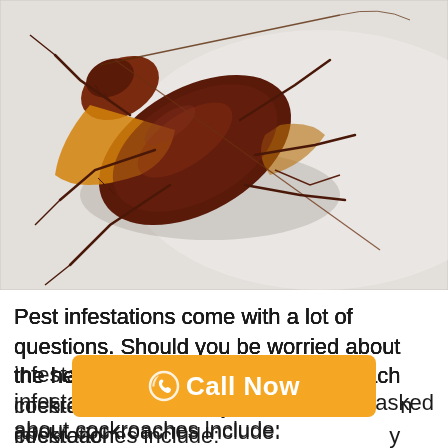[Figure (photo): Close-up photo of a large brown American cockroach on a white surface, with long antennae and spiny legs visible]
Pest infestations come with a lot of questions. Should you be worried about the health of your family? Do cockroach infestations commonly asked about cockroaches include: